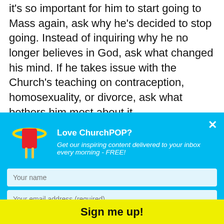it's so important for him to start going to Mass again, ask why he's decided to stop going. Instead of inquiring why he no longer believes in God, ask what changed his mind. If he takes issue with the Church's teaching on contraception, homosexuality, or divorce, ask what bothers him most about it.
Leading with questions and an attitude of listening can open up even the most closed-hearted young person to conversation.
[Figure (screenshot): A modal popup with cyan/blue background. Contains a popsicle mascot logo, 'Love ChurchPOP?' heading, subtitle text about inspiring content, two form fields (Your name, Your email address (required)), and a yellow 'Sign me up!' button.]